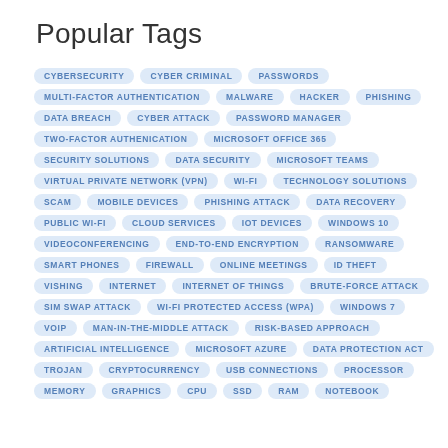Popular Tags
CYBERSECURITY | CYBER CRIMINAL | PASSWORDS | MULTI-FACTOR AUTHENTICATION | MALWARE | HACKER | PHISHING | DATA BREACH | CYBER ATTACK | PASSWORD MANAGER | TWO-FACTOR AUTHENICATION | MICROSOFT OFFICE 365 | SECURITY SOLUTIONS | DATA SECURITY | MICROSOFT TEAMS | VIRTUAL PRIVATE NETWORK (VPN) | WI-FI | TECHNOLOGY SOLUTIONS | SCAM | MOBILE DEVICES | PHISHING ATTACK | DATA RECOVERY | PUBLIC WI-FI | CLOUD SERVICES | IOT DEVICES | WINDOWS 10 | VIDEOCONFERENCING | END-TO-END ENCRYPTION | RANSOMWARE | SMART PHONES | FIREWALL | ONLINE MEETINGS | ID THEFT | VISHING | INTERNET | INTERNET OF THINGS | BRUTE-FORCE ATTACK | SIM SWAP ATTACK | WI-FI PROTECTED ACCESS (WPA) | WINDOWS 7 | VOIP | MAN-IN-THE-MIDDLE ATTACK | RISK-BASED APPROACH | ARTIFICIAL INTELLIGENCE | MICROSOFT AZURE | DATA PROTECTION ACT | TROJAN | CRYPTOCURRENCY | USB CONNECTIONS | PROCESSOR | MEMORY | GRAPHICS | CPU | SSD | RAM | NOTEBOOK